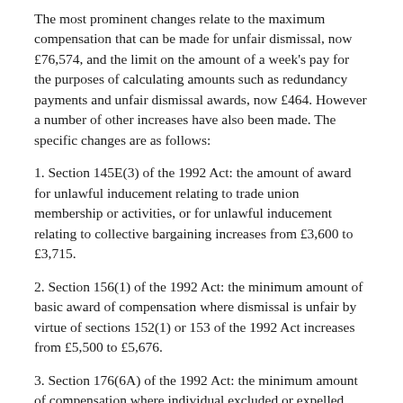The most prominent changes relate to the maximum compensation that can be made for unfair dismissal, now £76,574, and the limit on the amount of a week's pay for the purposes of calculating amounts such as redundancy payments and unfair dismissal awards, now £464. However a number of other increases have also been made. The specific changes are as follows:
1. Section 145E(3) of the 1992 Act: the amount of award for unlawful inducement relating to trade union membership or activities, or for unlawful inducement relating to collective bargaining increases from £3,600 to £3,715.
2. Section 156(1) of the 1992 Act: the minimum amount of basic award of compensation where dismissal is unfair by virtue of sections 152(1) or 153 of the 1992 Act increases from £5,500 to £5,676.
3. Section 176(6A) of the 1992 Act: the minimum amount of compensation where individual excluded or expelled from union in contravention of section 174 of the 1992 Act and not